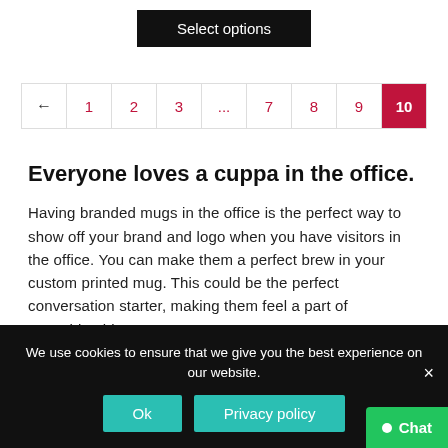Select options
[Figure (other): Pagination bar with pages: ← 1 2 3 ... 7 8 9 10 (10 is active/selected in red background)]
Everyone loves a cuppa in the office.
Having branded mugs in the office is the perfect way to show off your brand and logo when you have visitors in the office. You can make them a perfect brew in your custom printed mug. This could be the perfect conversation starter, making them feel a part of something bigger, or
We use cookies to ensure that we give you the best experience on our website.
Ok
Privacy policy